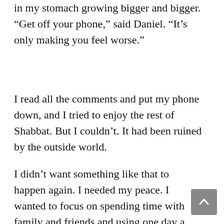in my stomach growing bigger and bigger. “Get off your phone,” said Daniel. “It’s only making you feel worse.”
I read all the comments and put my phone down, and I tried to enjoy the rest of Shabbat. But I couldn’t. It had been ruined by the outside world.
I didn’t want something like that to happen again. I needed my peace. I wanted to focus on spending time with family and friends and using one day a week to connect with Hashem. I was checking my phone because I didn’t have faith that everything would be OK while I was tuning out the world. I was trying to have control over an uncontrollable situation: life.